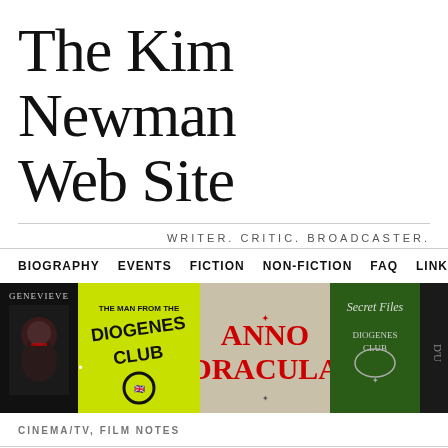The Kim Newman Web Site
WRITER. CRITIC. BROADCASTER.
BIOGRAPHY  EVENTS  FICTION  NON-FICTION  FAQ  LINKS  AWARD
[Figure (illustration): Banner of book covers: Genevieve, The Man from the Diogenes Club, Anno Dracula, Secret Files Diogenes Club, and partial D'U]
CINEMA/TV, FILM NOTES
Film review – Frauen im L... Camp) (1977)